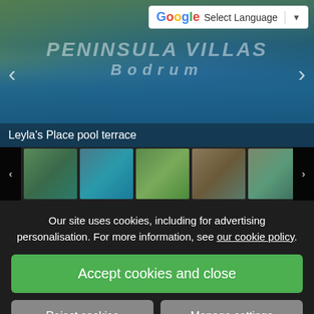[Figure (photo): Hero image of a villa pool terrace with sun loungers and lush green surroundings, overlaid with watermark text 'PENINSULA VILLAS Bodrum'. Navigation arrows on left and right sides. Google Translate widget in top right corner.]
Leyla's Place pool terrace
[Figure (photo): Thumbnail strip showing 5 small images of the villa property, with navigation arrows on left and right.]
A traditional stone Bodrum villa in Turkey with private pool
And now for something very and extra superb traditional, for a stone-built farmhouse villa in the village of Ya...
Our site uses cookies, including for advertising personalisation. For more information, see our cookie policy.
Accept cookies and close
Reject cookies
Manage settings